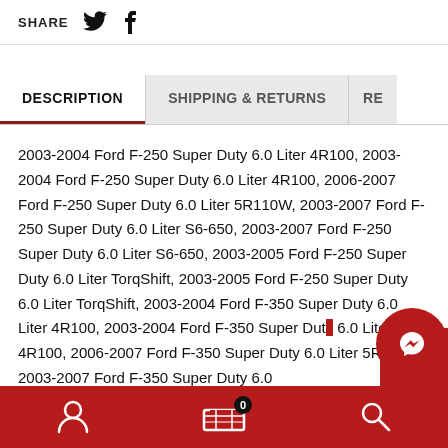SHARE
DESCRIPTION | SHIPPING & RETURNS | RE
2003-2004 Ford F-250 Super Duty 6.0 Liter 4R100, 2003-2004 Ford F-250 Super Duty 6.0 Liter 4R100, 2006-2007 Ford F-250 Super Duty 6.0 Liter 5R110W, 2003-2007 Ford F-250 Super Duty 6.0 Liter S6-650, 2003-2007 Ford F-250 Super Duty 6.0 Liter S6-650, 2003-2005 Ford F-250 Super Duty 6.0 Liter TorqShift, 2003-2005 Ford F-250 Super Duty 6.0 Liter TorqShift, 2003-2004 Ford F-350 Super Duty 6.0 Liter 4R100, 2003-2004 Ford F-350 Super Duty 6.0 Liter 4R100, 2006-2007 Ford F-350 Super Duty 6.0 Liter 5R110W, 2003-2007 Ford F-350 Super Duty 6.0
Footer navigation bar with user, cart (0), and search icons